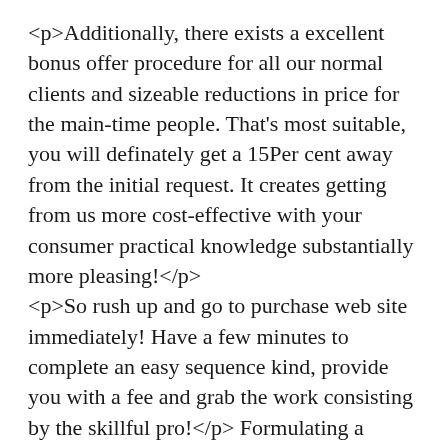<p>Additionally, there exists a excellent bonus offer procedure for all our normal clients and sizeable reductions in price for the main-time people. That's most suitable, you will definately get a 15Per cent away from the initial request. It creates getting from us more cost-effective with your consumer practical knowledge substantially more pleasing!</p> <p>So rush up and go to purchase web site immediately! Have a few minutes to complete an easy sequence kind, provide you with a fee and grab the work consisting by the skillful pro!</p> Formulating a Verdict to get a Dissertation Is Not Any Hassle Any further <p>Should you have stresses for the finalized kind of your Ph.D. endeavor, its articles,